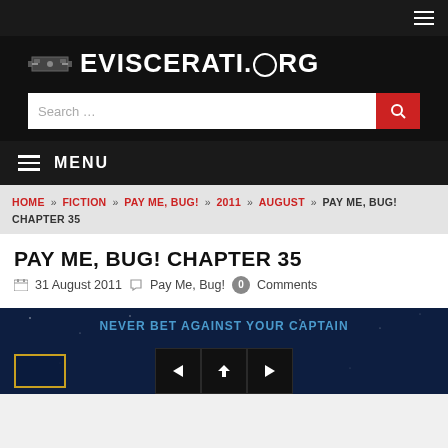≡ (hamburger menu icon)
[Figure (logo): Eviscerati.org logo with razor/blade icon on black background]
[Figure (screenshot): Search bar with red search button]
≡ MENU
HOME » FICTION » PAY ME, BUG! » 2011 » AUGUST » PAY ME, BUG! CHAPTER 35
PAY ME, BUG! CHAPTER 35
31 August 2011   Pay Me, Bug!   0 Comments
[Figure (photo): Featured image for Pay Me, Bug! Chapter 35 with text 'NEVER BET AGAINST YOUR CAPTAIN' and navigation buttons (prev, home, next)]